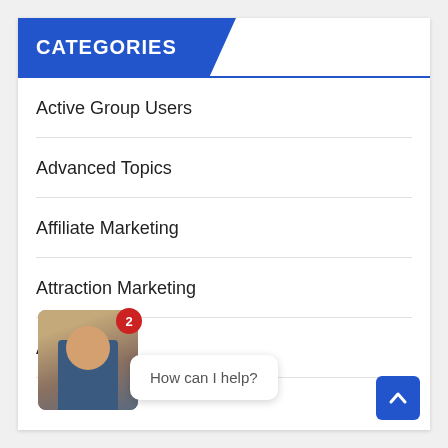CATEGORIES
Active Group Users
Advanced Topics
Affiliate Marketing
Attraction Marketing
Automation
[Figure (photo): Chat widget with a photo of a man waving with a notification badge showing 2, and a speech bubble saying 'How can I help?']